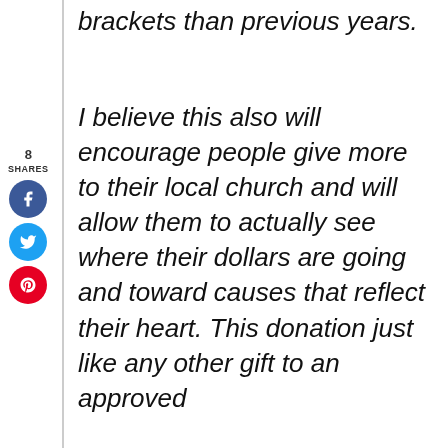brackets than previous years.
I believe this also will encourage people give more to their local church and will allow them to actually see where their dollars are going and toward causes that reflect their heart. This donation just like any other gift to an approved